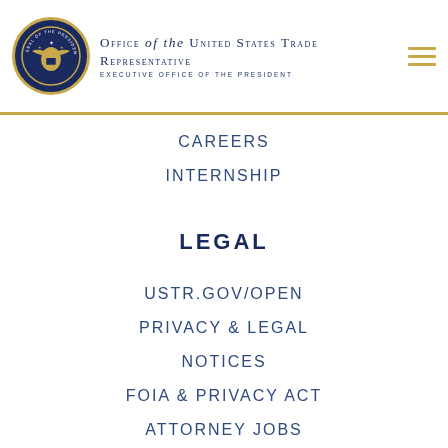Office of the United States Trade Representative — Executive Office of the President
CAREERS
INTERNSHIP
LEGAL
USTR.GOV/OPEN
PRIVACY & LEGAL
NOTICES
FOIA & PRIVACY ACT
ATTORNEY JOBS